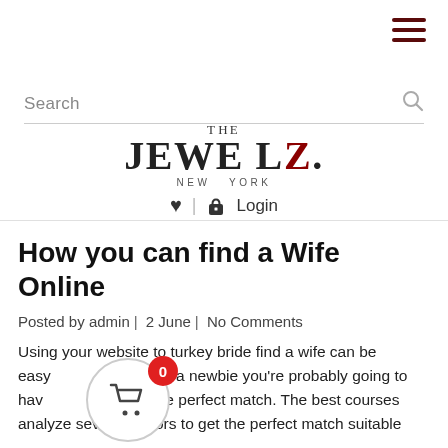THE JEWELZ. NEW YORK — Search | Login
How you can find a Wife Online
Posted by admin | 2 June | No Comments
Using your website to turkey bride find a wife can be easy. If you're here a newbie you're probably going to have trouble finding the perfect match. The best courses analyze several factors to get the perfect match suitable